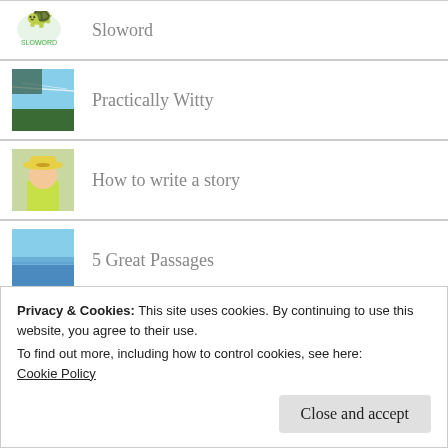Sloword
Practically Witty
How to write a story
5 Great Passages
Privacy & Cookies: This site uses cookies. By continuing to use this website, you agree to their use. To find out more, including how to control cookies, see here: Cookie Policy
Roti Shapes and the Brain